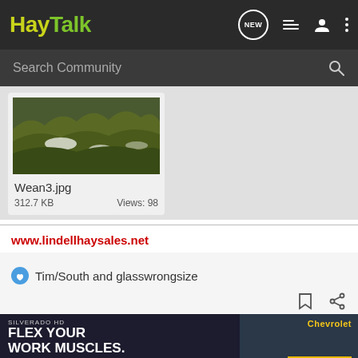[Figure (screenshot): HayTalk mobile app header with logo, NEW chat icon, list icon, user icon, and three-dot menu icon on dark background]
[Figure (screenshot): Search Community search bar on dark gray background]
[Figure (photo): Thumbnail image of hay bales on grass field (Wean3.jpg)]
Wean3.jpg
312.7 KB    Views: 98
www.lindellhaysales.net
Tim/South and glasswrongsize
[Figure (screenshot): Chevrolet Silverado HD advertisement banner: FLEX YOUR WORK MUSCLES. Available Multi-Flex Tailgate.]